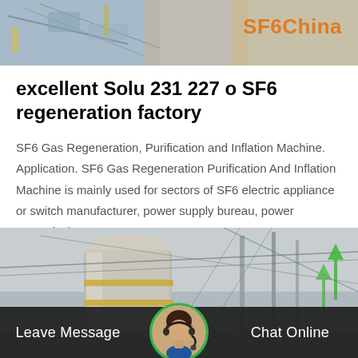[Figure (photo): Top banner showing electrical components and industrial equipment with SF6China branding in orange text on the right]
excellent Solu 231 227 o SF6 regeneration factory
SF6 Gas Regeneration, Purification and Inflation Machine. Application. SF6 Gas Regeneration Purification And Inflation Machine is mainly used for sectors of SF6 electric appliance or switch manufacturer, power supply bureau, power transmission a…
Get Price
[Figure (photo): Bottom half showing industrial electrical substation with large pipes, cables, power lines, and green upward arrows overlay]
Leave Message   Chat Online